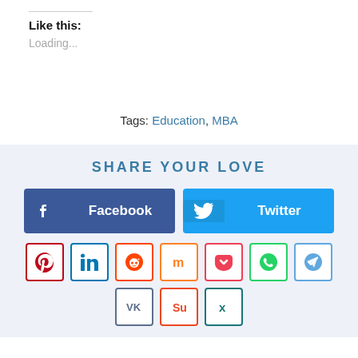Like this:
Loading...
Tags: Education, MBA
SHARE YOUR LOVE
Facebook
Twitter
[Figure (infographic): Row of small social share icon buttons: Pinterest, LinkedIn, Reddit, Mix, Pocket, WhatsApp, Telegram, VK, StumbleUpon, Xing]